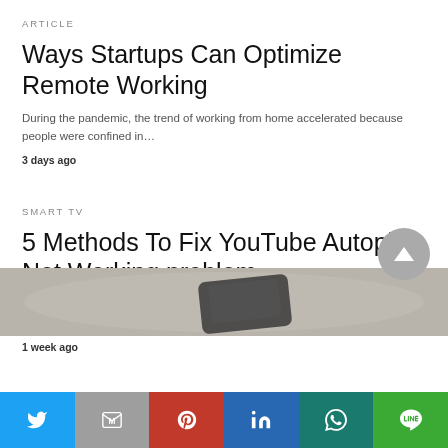ARTICLE
Ways Startups Can Optimize Remote Working
During the pandemic, the trend of working from home accelerated because people were confined in…
3 days ago
SMART TV
5 Methods To Fix YouTube Autoplay Not Working problem
Fix Youtube autoplay not working How Fix Youtube autoplay not working?There are numerous elements which…
1 week ago
[Figure (photo): A smartphone resting on a light surface, blurred background, partial view from above.]